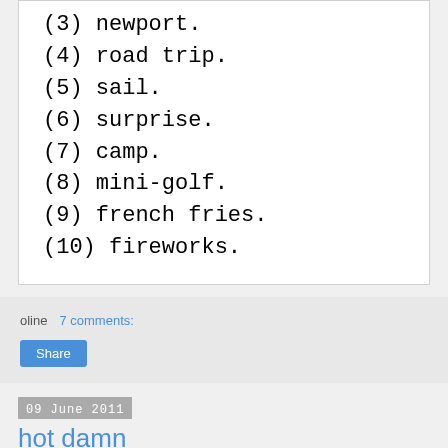(3) newport.
(4) road trip.
(5) sail.
(6) surprise.
(7) camp.
(8) mini-golf.
(9) french fries.
(10) fireworks.
oline  7 comments:
Share
09 June 2011
hot damn